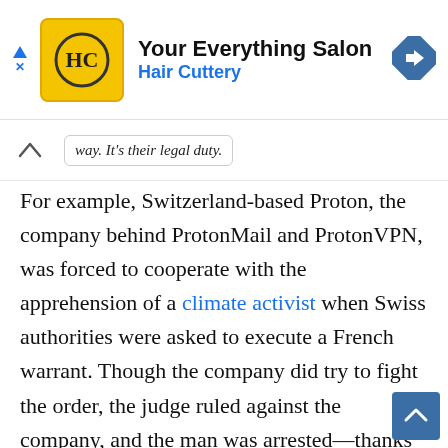[Figure (screenshot): Hair Cuttery ad banner with logo, 'Your Everything Salon' heading, Hair Cuttery subtitle in blue, and a blue navigation arrow icon on the right]
way. It's their legal duty.
For example, Switzerland-based Proton, the company behind ProtonMail and ProtonVPN, was forced to cooperate with the apprehension of a climate activist when Swiss authorities were asked to execute a French warrant. Though the company did try to fight the order, the judge ruled against the company, and the man was arrested—thanks in part to the information provided by ProtonVPN.